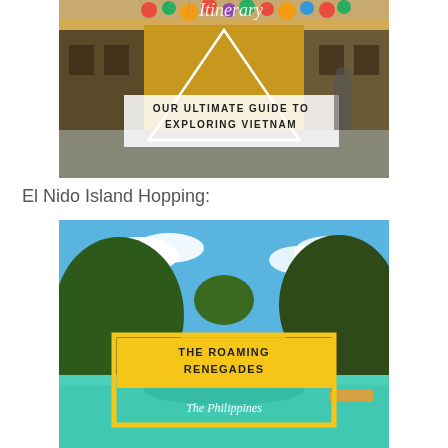[Figure (photo): Photo of a colorful Vietnamese street in Hoi An with lanterns overhead, yellow buildings, and a white triangle design overlay with text 'OUR ULTIMATE GUIDE TO EXPLORING VIETNAM' and partially visible 'Itinerary' at the top]
El Nido Island Hopping:
[Figure (photo): Photo of El Nido, Philippines showing limestone karst islands, turquoise water with boats, blue sky with clouds. Yellow rectangular frame overlay with text 'THE ROAMING RENEGADES' and 'The Philippines']